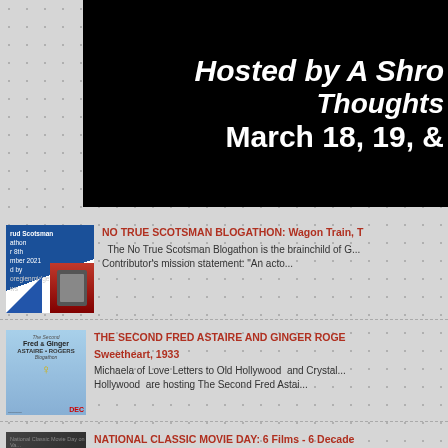[Figure (screenshot): Black banner image with white bold italic text reading 'Hosted by A Shro... Thoughts' and 'March 18, 19, &...' on black background]
NO TRUE SCOTSMAN BLOGATHON: Wagon Train, T...
The No True Scotsman Blogathon is the brainchild of G... Contributor's mission statement: "An acto...
THE SECOND FRED ASTAIRE AND GINGER ROGE... Sweetheart, 1933
Michaela of Love Letters to Old Hollywood  and Crystal... Hollywood  are hosting The Second Fred Astai...
NATIONAL CLASSIC MOVIE DAY: 6 Films - 6 Decade...
National Classic Movie Day is supported annually by it...